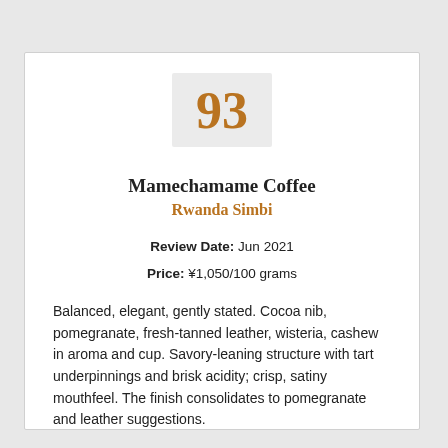[Figure (other): Score badge showing the number 93 in large bold brown text on a light gray square background]
Mamechamame Coffee
Rwanda Simbi
Review Date: Jun 2021
Price: ¥1,050/100 grams
Balanced, elegant, gently stated. Cocoa nib, pomegranate, fresh-tanned leather, wisteria, cashew in aroma and cup. Savory-leaning structure with tart underpinnings and brisk acidity; crisp, satiny mouthfeel. The finish consolidates to pomegranate and leather suggestions.
Read Complete Review >